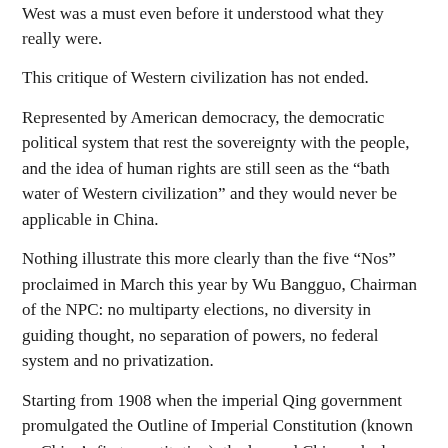West was a must even before it understood what they really were.
This critique of Western civilization has not ended.
Represented by American democracy, the democratic political system that rest the sovereignty with the people, and the idea of human rights are still seen as the “bath water of Western civilization” and they would never be applicable in China.
Nothing illustrate this more clearly than the five “Nos” proclaimed in March this year by Wu Bangguo, Chairman of the NPC: no multiparty elections, no diversity in guiding thought, no separation of powers, no federal system and no privatization.
Starting from 1908 when the imperial Qing government promulgated the Outline of Imperial Constitution (known as China’s first constitution), the learned Chinese had begun their hundred-year-long pursuit of the constitutional dream. But so long as the thought “Sovereignty in the People” is still seen as the “bathwater” of Western civilizations, constitutionalism would remain far and away from the Chinese people.